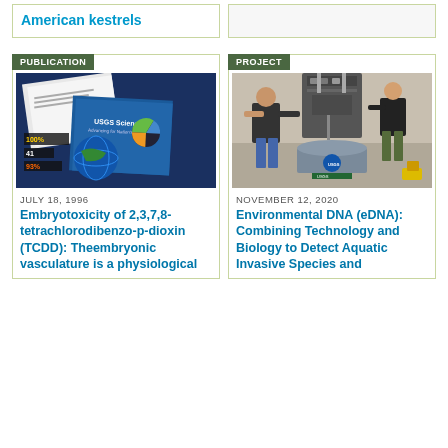American kestrels
PUBLICATION
[Figure (photo): Photo of USGS Science publication materials spread out, showing pamphlets, charts including a pie chart, and imagery of Earth.]
JULY 18, 1996
Embryotoxicity of 2,3,7,8-tetrachlorodibenzo-p-dioxin (TCDD): Theembryonic vasculature is a physiological
PROJECT
[Figure (photo): Photo of two people working with scientific equipment, including a large cylindrical container with a USGS logo.]
NOVEMBER 12, 2020
Environmental DNA (eDNA): Combining Technology and Biology to Detect Aquatic Invasive Species and